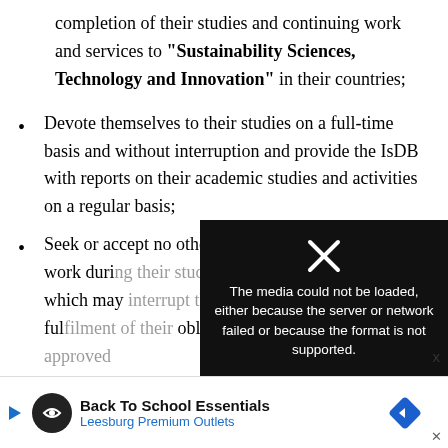completion of their studies and continuing work and services to "Sustainability Sciences, Technology and Innovation" in their countries;
Devote themselves to their studies on a full-time basis and without interruption and provide the IsDB with reports on their academic studies and activities on a regular basis;
Seek or accept no other scholarship or remunerated work during their studies under the Programme which may interrupt their studies or make the fulfilment of their obligations difficult unless approved in writing by the IsDB...
[partially obscured by overlay]